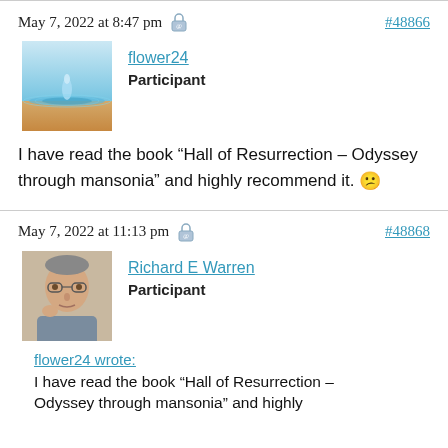May 7, 2022 at 8:47 pm
#48866
[Figure (photo): Avatar of flower24: water drop ripple image]
flower24
Participant
I have read the book “Hall of Resurrection – Odyssey through mansonia” and highly recommend it. 😊
May 7, 2022 at 11:13 pm
#48868
[Figure (photo): Avatar of Richard E Warren: photo of an elderly man]
Richard E Warren
Participant
flower24 wrote:
I have read the book “Hall of Resurrection – Odyssey through mansonia” and highly